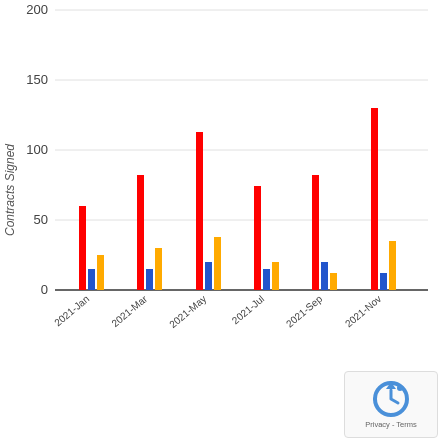[Figure (grouped-bar-chart): Contracts Signed]
[Figure (logo): reCAPTCHA Privacy - Terms badge]